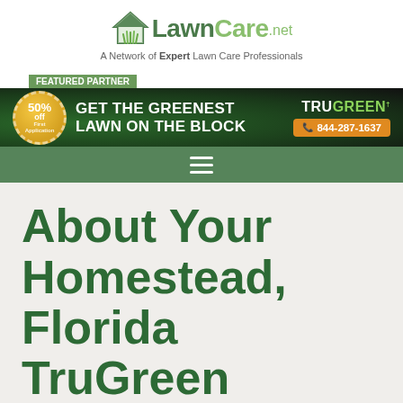[Figure (logo): LawnCare.net logo with house and grass icon above the text]
A Network of Expert Lawn Care Professionals
FEATURED PARTNER
[Figure (infographic): TruGreen advertisement banner: GET THE GREENEST LAWN ON THE BLOCK, 50% off First Application, TRUGREEN, 844-287-1637]
[Figure (other): Navigation bar with hamburger menu icon]
About Your Homestead, Florida TruGreen